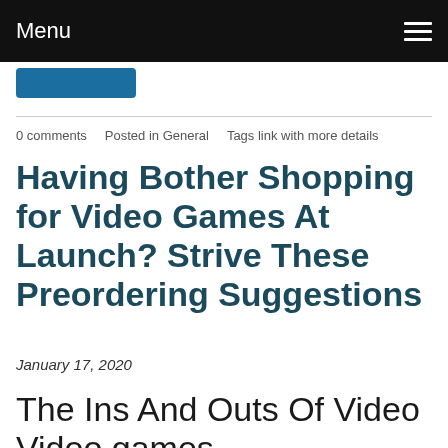Menu
0 comments   Posted in General   Tags link with more details
Having Bother Shopping for Video Games At Launch? Strive These Preordering Suggestions
January 17, 2020
The Ins And Outs Of Video Video games